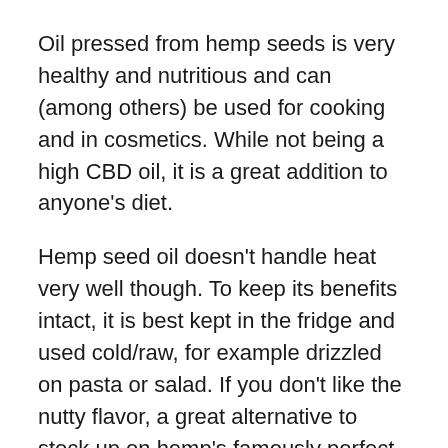Oil pressed from hemp seeds is very healthy and nutritious and can (among others) be used for cooking and in cosmetics. While not being a high CBD oil, it is a great addition to anyone's diet.
Hemp seed oil doesn't handle heat very well though. To keep its benefits intact, it is best kept in the fridge and used cold/raw, for example drizzled on pasta or salad. If you don't like the nutty flavor, a great alternative to stock up on hemp's famously perfect ratio of omegas is eating hemp seed.
Personally I much prefer hemp seed over hemp seed oil, because it blends so nicely with granola and yoghurt (not a great combo with hemp oil, ha) as well as any stir-fry (post-frying, to preserve the nutritional value). Depending on your favorite it...